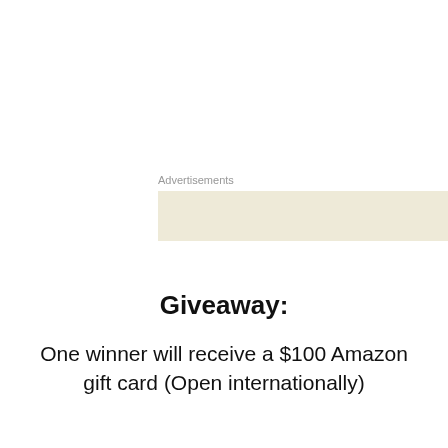Advertisements
Giveaway:
One winner will receive a $100 Amazon gift card (Open internationally)
Ends April 22
Privacy & Cookies: This site uses cookies. By continuing to use this website, you agree to their use.
To find out more, including how to control cookies, see here: Cookie Policy